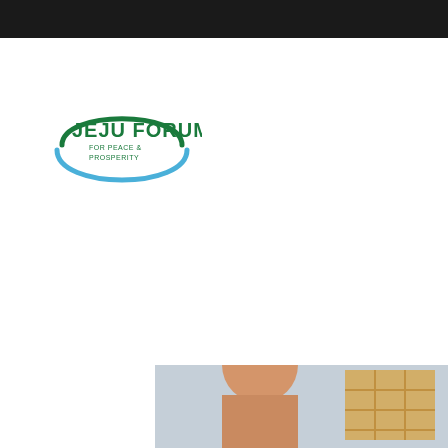[Figure (logo): Jeju Forum for Peace & Prosperity logo with green arc top, blue arc bottom, and text]
FORUM
[Figure (photo): Partial photo showing a person with short brown hair and a window/grid pattern in background, cropped at bottom of page]